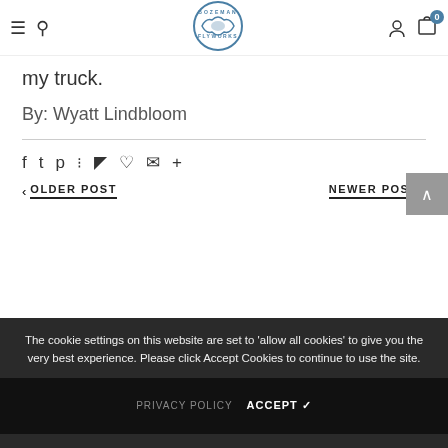Bozeman Flyworks navigation header
my truck.
By: Wyatt Lindbloom
Social sharing icons: Facebook, Twitter, Pinterest, Grid, Pocket, Heart, Email, Plus
< OLDER POST    NEWER POST >
The cookie settings on this website are set to 'allow all cookies' to give you the very best experience. Please click Accept Cookies to continue to use the site.
PRIVACY POLICY   ACCEPT ✔